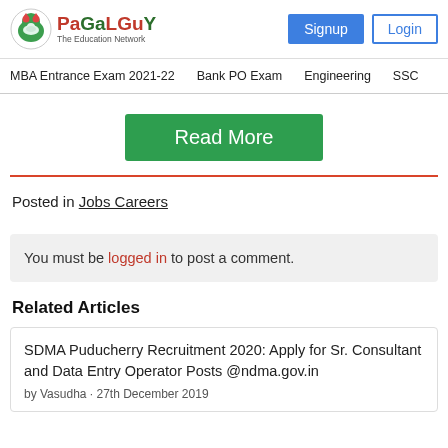PaGaLGuY - The Education Network | Signup | Login
MBA Entrance Exam 2021-22 | Bank PO Exam | Engineering | SSC
Read More
Posted in Jobs Careers
You must be logged in to post a comment.
Related Articles
SDMA Puducherry Recruitment 2020: Apply for Sr. Consultant and Data Entry Operator Posts @ndma.gov.in
by Vasudha · 27th December 2019